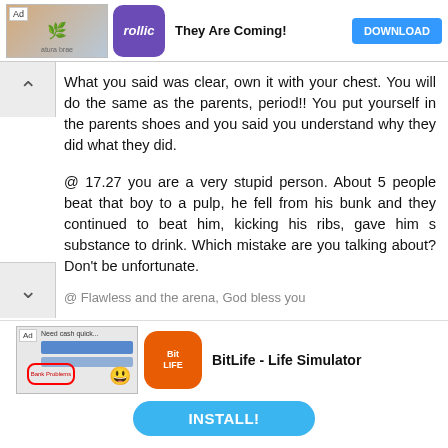[Figure (screenshot): Top advertisement banner for 'They Are Coming!' app by Rollic with a DOWNLOAD button]
What you said was clear, own it with your chest. You will do the same as the parents, period!! You put yourself in the parents shoes and you said you understand why they did what they did.
@ 17.27 you are a very stupid person. About 5 people beat that boy to a pulp, he fell from his bunk and they continued to beat him, kicking his ribs, gave him s substance to drink. Which mistake are you talking about? Don't be unfortunate.
@ Flawless and the arena, God bless you
[Figure (screenshot): Bottom advertisement banner for 'BitLife - Life Simulator' app with an INSTALL! button]